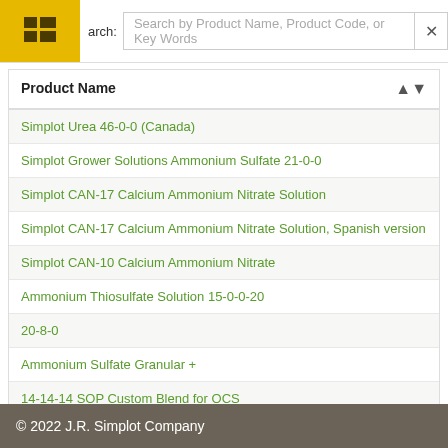Search by Product Name, Product Code, or Key Words
| Product Name |
| --- |
| Simplot Urea 46-0-0 (Canada) |
| Simplot Grower Solutions Ammonium Sulfate 21-0-0 |
| Simplot CAN-17 Calcium Ammonium Nitrate Solution |
| Simplot CAN-17 Calcium Ammonium Nitrate Solution, Spanish version |
| Simplot CAN-10 Calcium Ammonium Nitrate |
| Ammonium Thiosulfate Solution 15-0-0-20 |
| 20-8-0 |
| Ammonium Sulfate Granular + |
| 14-14-14 SOP Custom Blend for OCS |
| Simplot Grower Solutions 0-0-62 MOP |
| Simplot Partners 25-3-10 60% MU 5% Fe custom blend The Reserve |
| Simplot Grower Solutions 0-3-0 Rock Phosphate |
© 2022 J.R. Simplot Company